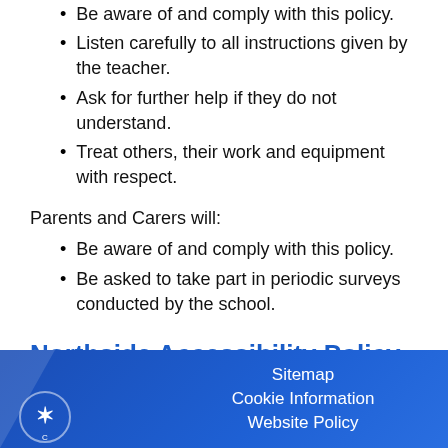Be aware of and comply with this policy.
Listen carefully to all instructions given by the teacher.
Ask for further help if they do not understand.
Treat others, their work and equipment with respect.
Parents and Carers will:
Be aware of and comply with this policy.
Be asked to take part in periodic surveys conducted by the school.
Northside Accessibility Policy
[Figure (other): PDF file icon (red and white Adobe PDF logo)]
Northside Accessibility Policy Dec2019.pdf
Sitemap  Cookie Information  Website Policy